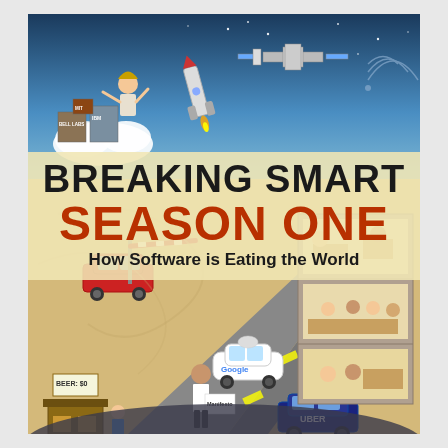[Figure (illustration): Book cover illustration showing a colorful cartoon scene: top portion has a night-sky blue background with a space station, rocket, and swirling signals; a god-like figure stands on clouds near buildings labeled 'Bell Labs', 'IBM', 'MIT'. Middle section has a cream/tan background with a Google self-driving car on a road, a Tesla car at a railroad crossing, an Uber car, a woman holding a sign reading 'Manifesto', a child at a stand labeled 'Beer: $0', and office buildings with people inside. The title 'Breaking Smart Season One: How Software is Eating the World' appears in a translucent yellow-tan band across the middle.]
BREAKING SMART
SEASON ONE
How Software is Eating the World